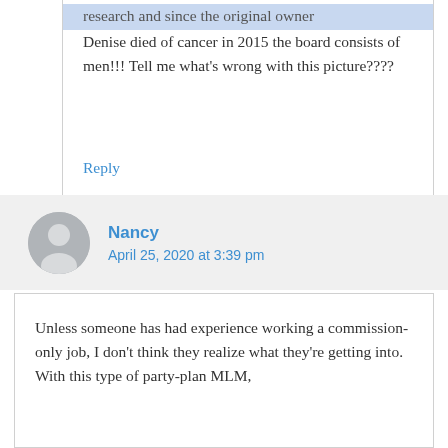research and since the original owner Denise died of cancer in 2015 the board consists of men!!! Tell me what's wrong with this picture????
Reply
Nancy
April 25, 2020 at 3:39 pm
Unless someone has had experience working a commission-only job, I don't think they realize what they're getting into. With this type of party-plan MLM,